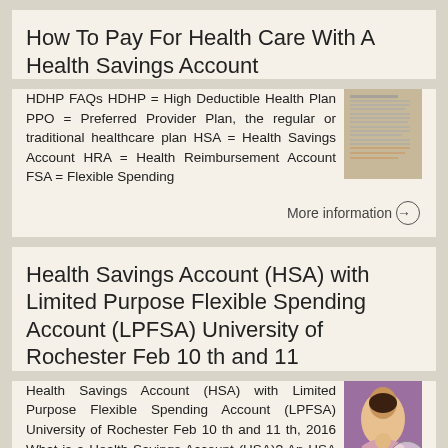How To Pay For Health Care With A Health Savings Account
HDHP FAQs HDHP = High Deductible Health Plan PPO = Preferred Provider Plan, the regular or traditional healthcare plan HSA = Health Savings Account HRA = Health Reimbursement Account FSA = Flexible Spending
[Figure (photo): Thumbnail image of a document with text lines]
More information →
Health Savings Account (HSA) with Limited Purpose Flexible Spending Account (LPFSA) University of Rochester Feb 10 th and 11
Health Savings Account (HSA) with Limited Purpose Flexible Spending Account (LPFSA) University of Rochester Feb 10 th and 11 th, 2016 What is a Health Savings Account (HSA)? An HSA is a health care savings
[Figure (photo): Photo of a woman in a colorful background]